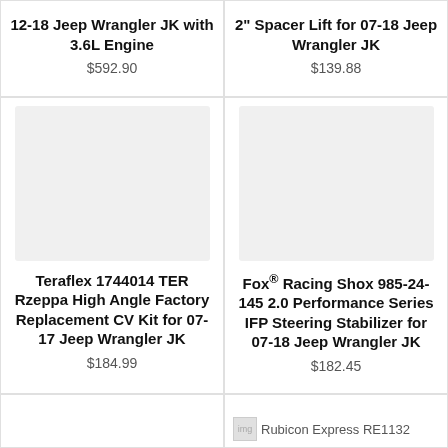12-18 Jeep Wrangler JK with 3.6L Engine
$592.90
2" Spacer Lift for 07-18 Jeep Wrangler JK
$139.88
[Figure (photo): Product image placeholder for Teraflex CV Kit]
Teraflex 1744014 TER Rzeppa High Angle Factory Replacement CV Kit for 07-17 Jeep Wrangler JK
$184.99
[Figure (photo): Product image placeholder for Fox Racing Shox]
Fox® Racing Shox 985-24-145 2.0 Performance Series IFP Steering Stabilizer for 07-18 Jeep Wrangler JK
$182.45
[Figure (photo): Rubicon Express RE1132 product image - partially visible]